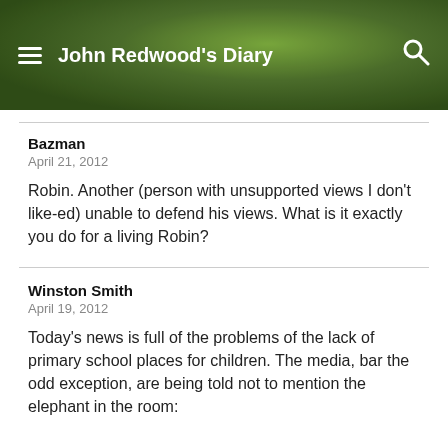John Redwood's Diary
Bazman
April 21, 2012
Robin. Another (person with unsupported views I don’t like-ed) unable to defend his views. What is it exactly you do for a living Robin?
Winston Smith
April 19, 2012
Today’s news is full of the problems of the lack of primary school places for children. The media, bar the odd exception, are being told not to mention the elephant in the room: